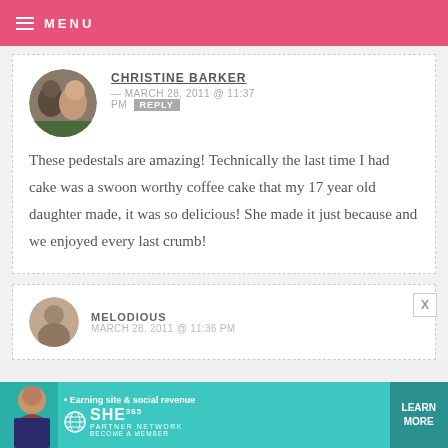MENU
CHRISTINE BARKER — MARCH 28, 2011 @ 11:37 PM REPLY
These pedestals are amazing! Technically the last time I had cake was a swoon worthy coffee cake that my 17 year old daughter made, it was so delicious! She made it just because and we enjoyed every last crumb!
MELODIOUS — MARCH 28, 2011 @ 11:36 PM
[Figure (infographic): Ad banner for SHE Partner Network: Earning site & social revenue. LEARN MORE button.]